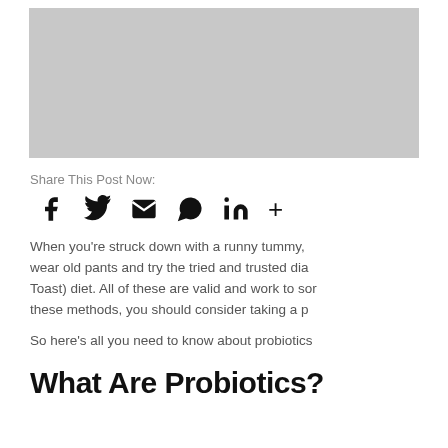[Figure (photo): Gray placeholder image at top of page]
Share This Post Now:
[Figure (infographic): Social share icons: Facebook, Twitter, Email, WhatsApp, LinkedIn, More (+)]
When you're struck down with a runny tummy, wear old pants and try the tried and trusted dia... Toast) diet. All of these are valid and work to som... these methods, you should consider taking a p...
So here's all you need to know about probiotics...
What Are Probiotics?